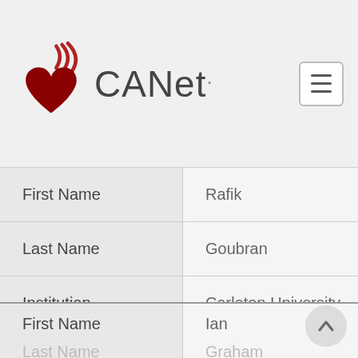[Figure (logo): CANet logo: dark red heart with curved signal lines above it, followed by the text CANet with a registered trademark dot]
| Field | Value |
| --- | --- |
| First Name | Rafik |
| Last Name | Goubran |
| Institution | Carleton University |
| Province | Ontario |
| First Name | Ian |
| Last Name | Graham |